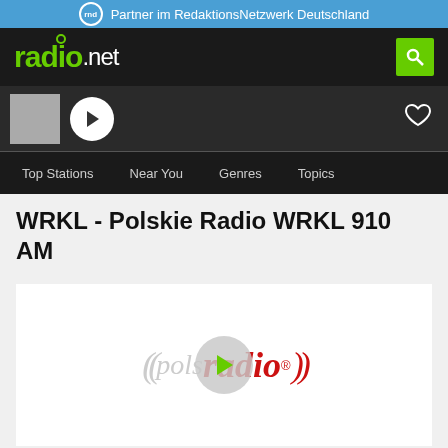Partner im RedaktionsNetzwerk Deutschland
[Figure (logo): radio.net logo in green on dark background with search button]
[Figure (screenshot): Audio player bar with play button, station thumbnail, and heart/favorite icon]
Top Stations   Near You   Genres   Topics
WRKL - Polskie Radio WRKL 910 AM
[Figure (logo): Polskie Radio logo: grey waves and polskie text with red radio text and play button overlay]